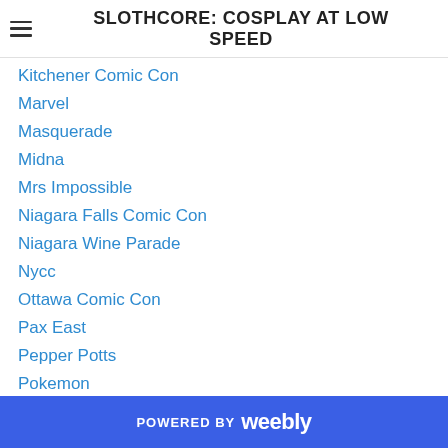SLOTHCORE: COSPLAY AT LOW SPEED
Kitchener Comic Con
Marvel
Masquerade
Midna
Mrs Impossible
Niagara Falls Comic Con
Niagara Wine Parade
Nycc
Ottawa Comic Con
Pax East
Pepper Potts
Pokemon
Progress Post
Rat Queens
Riverdale
Saga
POWERED BY weebly